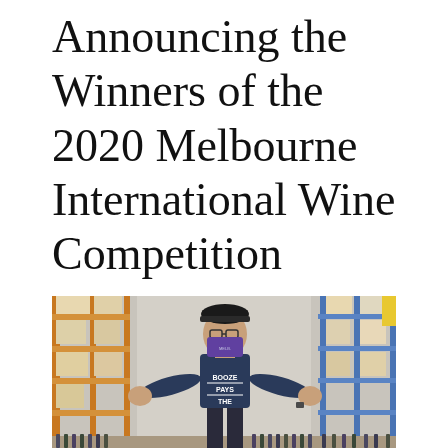Announcing the Winners of the 2020 Melbourne International Wine Competition
[Figure (photo): A person wearing a black cap, glasses, a blue face mask, and a dark t-shirt reading 'BOOZE PAYS THE' stands in a warehouse with orange metal shelving racks and boxes on both sides, arms spread wide in a welcoming gesture.]